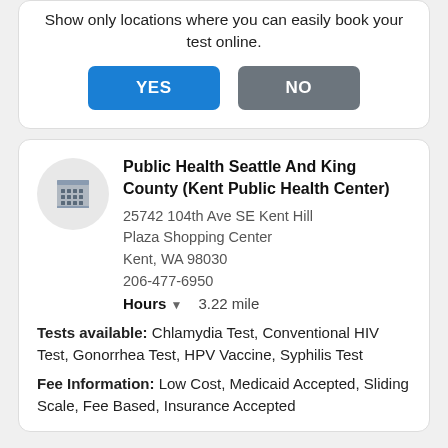Show only locations where you can easily book your test online.
YES
NO
Public Health Seattle And King County (Kent Public Health Center)
25742 104th Ave SE Kent Hill Plaza Shopping Center
Kent, WA 98030
206-477-6950
Hours  3.22 mile
Tests available: Chlamydia Test, Conventional HIV Test, Gonorrhea Test, HPV Vaccine, Syphilis Test
Fee Information: Low Cost, Medicaid Accepted, Sliding Scale, Fee Based, Insurance Accepted